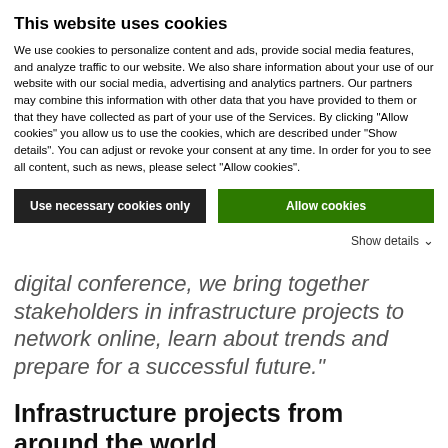This website uses cookies
We use cookies to personalize content and ads, provide social media features, and analyze traffic to our website. We also share information about your use of our website with our social media, advertising and analytics partners. Our partners may combine this information with other data that you have provided to them or that they have collected as part of your use of the Services. By clicking "Allow cookies" you allow us to use the cookies, which are described under "Show details". You can adjust or revoke your consent at any time. In order for you to see all content, such as news, please select "Allow cookies".
Use necessary cookies only | Allow cookies | Show details
digital conference, we bring together stakeholders in infrastructure projects to network online, learn about trends and prepare for a successful future."
Infrastructure projects from around the world